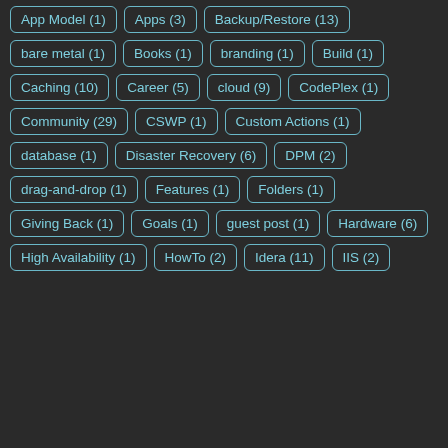App Model (1)
Apps (3)
Backup/Restore (13)
bare metal (1)
Books (1)
branding (1)
Build (1)
Caching (10)
Career (5)
cloud (9)
CodePlex (1)
Community (29)
CSWP (1)
Custom Actions (1)
database (1)
Disaster Recovery (6)
DPM (2)
drag-and-drop (1)
Features (1)
Folders (1)
Giving Back (1)
Goals (1)
guest post (1)
Hardware (6)
High Availability (1)
HowTo (2)
Idera (11)
IIS (2)